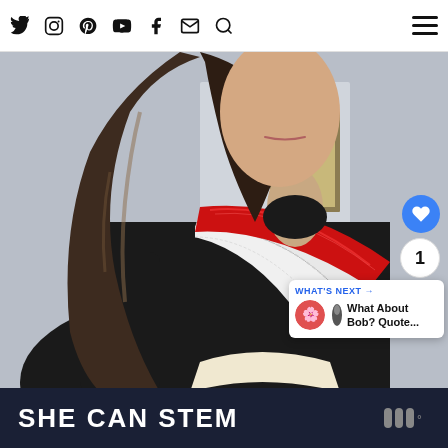Social media icons: Twitter, Instagram, Pinterest, YouTube, Facebook, Email, Search, Hamburger menu
[Figure (photo): A woman shown from the nose down, in profile/side view, with long dark brown hair, wearing a black turtleneck with a red glittery diagonal sash and white lace trim across the shoulder.]
[Figure (infographic): What's Next card showing 'What About Bob? Quote...' with thumbnail images]
SHE CAN STEM